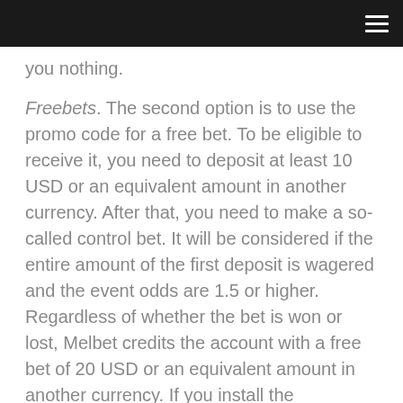you nothing.
Freebets. The second option is to use the promo code for a free bet. To be eligible to receive it, you need to deposit at least 10 USD or an equivalent amount in another currency. After that, you need to make a so-called control bet. It will be considered if the entire amount of the first deposit is wagered and the event odds are 1.5 or higher. Regardless of whether the bet is won or lost, Melbet credits the account with a free bet of 20 USD or an equivalent amount in another currency. If you install the application for ghana on your smartphone and log in to your personal account, then an additional 10 USD free bet will be credited. The same with the promo code for Melbet Ghana for the first deposit, you need to fill in all necessary fields in your personal account before making a deposit